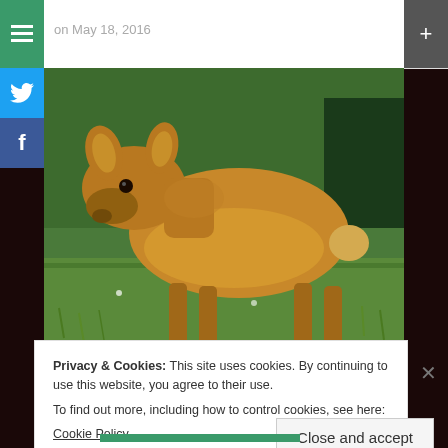on May 18, 2016
[Figure (photo): A young elk calf (fawn) standing on green grass with green foliage in the background. The calf is light brown/golden colored and facing left toward the camera.]
Privacy & Cookies: This site uses cookies. By continuing to use this website, you agree to their use.
To find out more, including how to control cookies, see here:
Cookie Policy
Close and accept